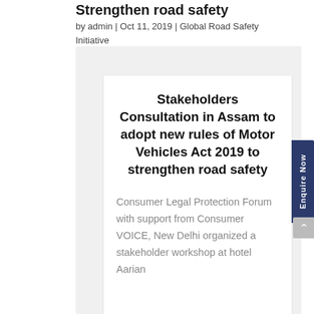Strengthen road safety
by admin | Oct 11, 2019 | Global Road Safety Initiative
Stakeholders Consultation in Assam to adopt new rules of Motor Vehicles Act 2019 to strengthen road safety
Consumer Legal Protection Forum with support from Consumer VOICE, New Delhi organized a stakeholder workshop at hotel Aarian